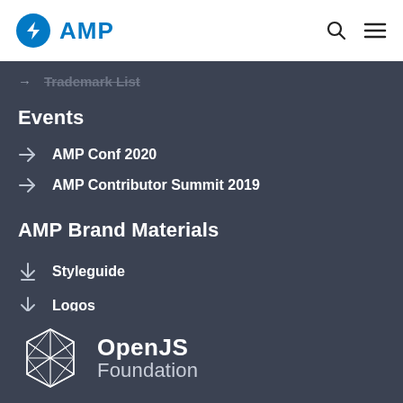AMP
Trademark List
Events
AMP Conf 2020
AMP Contributor Summit 2019
AMP Brand Materials
Styleguide
Logos
[Figure (logo): OpenJS Foundation logo with white geometric diamond icon and white text 'OpenJS Foundation']